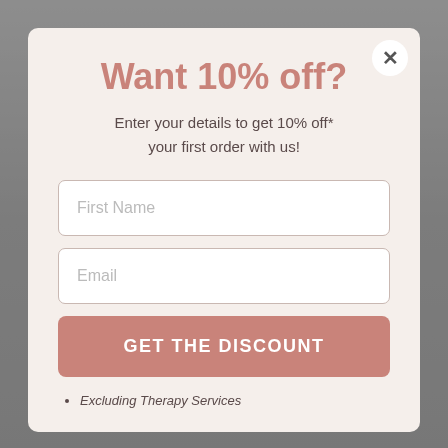Want 10% off?
Enter your details to get 10% off* your first order with us!
First Name
Email
GET THE DISCOUNT
Excluding Therapy Services